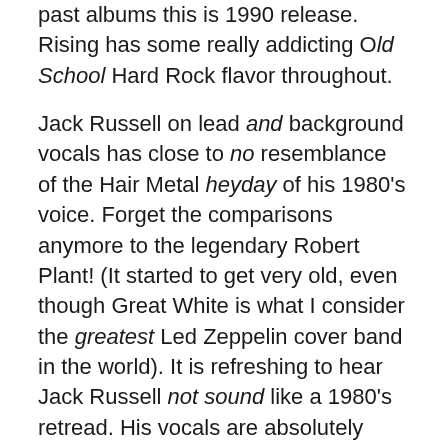past albums this is 1990 release. Rising has some really addicting Old School Hard Rock flavor throughout.

Jack Russell on lead and background vocals has close to no resemblance of the Hair Metal heyday of his 1980's voice. Forget the comparisons anymore to the legendary Robert Plant! (It started to get very old, even though Great White is what I consider the greatest Led Zeppelin cover band in the world). It is refreshing to hear Jack Russell not sound like a 1980's retread. His vocals are absolutely superb on this album. "Danger Zone" and "Down On The Level" are two of the more hardest rockers on "Rising", giving way to some of Jack Russell's vocal past. "My Sanctuary" exemplifies what the Hard Rock ballads sound like on this album… free flowing with plenty of catchy grooves. "Situation" and "Shine" are songs that are similar, being heavy enough that they are very far